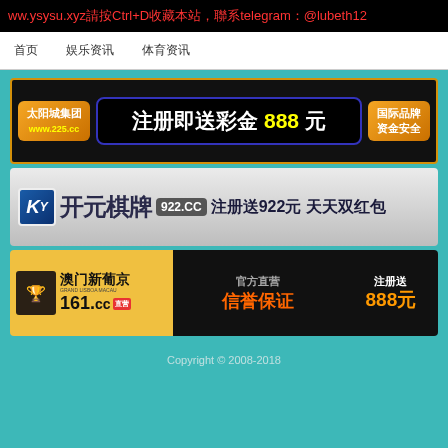ww.ysysu.xyz请按Ctrl+D收藏本站，联系telegram：@lubeth12
首页  娱乐资讯  体育资讯
[Figure (infographic): 太阳城集团 www.225.cc 注册即送彩金888元 国际品牌 资金安全 banner]
[Figure (infographic): KY开元棋牌 922.CC 注册送922元 天天双红包 banner]
[Figure (infographic): 澳门新葡京 161.cc 官方直营 信誉保证 注册送888元 banner]
Copyright © 2008-2018